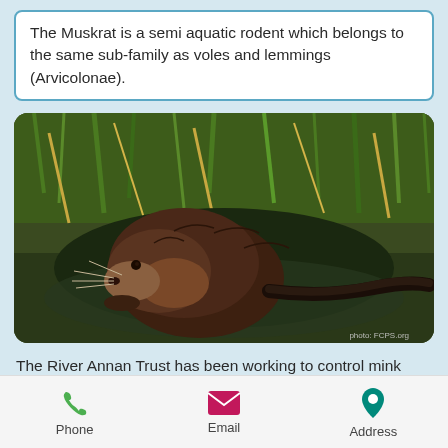The Muskrat is a semi aquatic rodent which belongs to the same sub-family as voles and lemmings (Arvicolonae).
[Figure (photo): A muskrat photographed near water's edge, surrounded by grass and reeds. The animal has dark brown fur and a long dark tail. Credit: photo: FCPS.org]
The River Annan Trust has been working to control mink numbers on the river for a number of years using a combination of mink rafts and tunnels. The rafts and tunnels contain a clay pad that detects
Phone   Email   Address